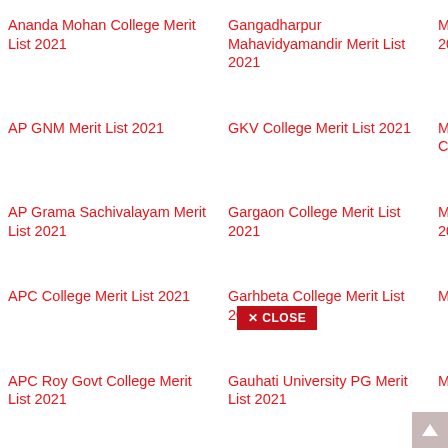Ananda Mohan College Merit List 2021
Gangadharpur Mahavidyamandir Merit List 2021
Maulana Azad College Merit List 2021
Serampore College Merit List 2021
AP GNM Merit List 2021
GKV College Merit List 2021
Monteswar Dr Gour Mohan Roy College Merit List 2021
Seth Soorajmull Jalan Girls' College Merit List 2021
AP Grama Sachivalayam Merit List 2021
Gargaon College Merit List 2021
MCD GNM Nursing Merit List 2021
SGGU B.Ed Merit List
APC College Merit List 2021
Garhbeta College Merit List 2021
MCM DAV College Merit List 2021
Sibsagar Merit List 2021
APC Roy Govt College Merit List 2021
Gauhati University PG Merit List 2021
MDM Birati Merit List 2021
Shaheed Benazir Bhutto University Merit List 2021